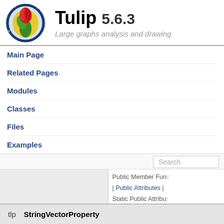[Figure (logo): Tulip software logo: stylized tulip flower in green/red/yellow on blue circular background]
Tulip 5.6.3
Large graphs analysis and drawing
Main Page
Related Pages
Modules
Classes
Files
Examples
Search
Public Member Functions | Public Attributes | Static Public Attributes |
tlp  StringVectorProperty